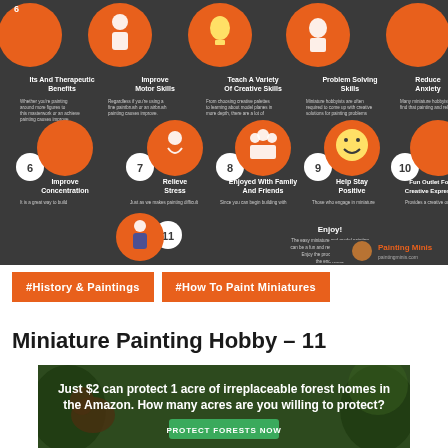[Figure (infographic): Infographic showing benefits of miniature painting on dark grey background. Numbered items include: 6-Its And Therapeutic Benefits, 7-Improve Motor Skills, 8-Teach A Variety Of Creative Skills, 9-Problem Solving Skills, 10-Reduces Anxiety, and second row: 6-Improve Concentration, 7-Relieve Stress, 8-Enjoyed With Family And Friends, 9-Help Stay Positive, 10-Fun Outlet For Creative Expression, plus item 11-Enjoy! with a 'Painting Minis' logo at bottom right. Orange circular numbered icons with illustrated characters.]
#History & Paintings
#How To Paint Miniatures
Miniature Painting Hobby – 11
[Figure (infographic): Advertisement banner: 'Just $2 can protect 1 acre of irreplaceable forest homes in the Amazon. How many acres are you willing to protect?' with a green 'PROTECT FORESTS NOW' button, on a dark green forest background.]